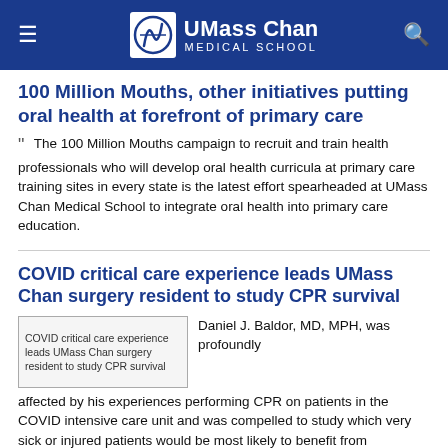UMass Chan Medical School
100 Million Mouths, other initiatives putting oral health at forefront of primary care
The 100 Million Mouths campaign to recruit and train health professionals who will develop oral health curricula at primary care training sites in every state is the latest effort spearheaded at UMass Chan Medical School to integrate oral health into primary care education.
COVID critical care experience leads UMass Chan surgery resident to study CPR survival
[Figure (photo): COVID critical care experience leads UMass Chan surgery resident to study CPR survival]
Daniel J. Baldor, MD, MPH, was profoundly affected by his experiences performing CPR on patients in the COVID intensive care unit and was compelled to study which very sick or injured patients would be most likely to benefit from cardiopulmonary resuscitation.
Summer learning opportunity at UMass Chan